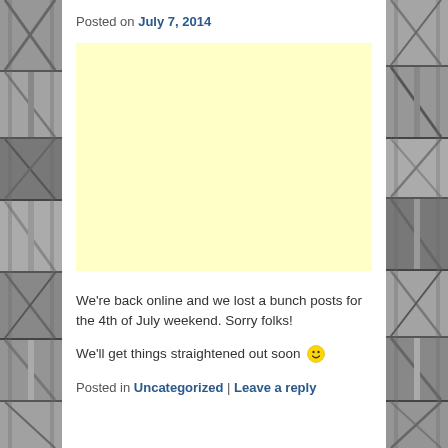[Figure (photo): Black and white industrial/construction photo strip on the left side of the page]
[Figure (photo): Black and white industrial/construction photo strip on the right side of the page]
Posted on July 7, 2014
[Figure (other): Light yellow advertisement/placeholder block]
We're back online and we lost a bunch posts for the 4th of July weekend. Sorry folks!
We'll get things straightened out soon 🙂
Posted in Uncategorized | Leave a reply